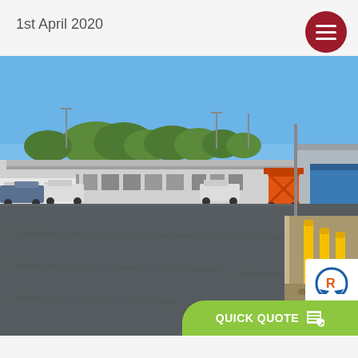1st April 2020
[Figure (photo): Outdoor photograph of a large industrial or commercial facility with a wide asphalt parking/loading area in the foreground, low warehouse-style buildings in the background, blue sky, trees, yellow bollards on the right side, an orange scissor lift, and a blue portable building on the far right. A hamburger menu button (dark red circle with three white horizontal lines) appears in the upper right corner.]
QUICK QUOTE